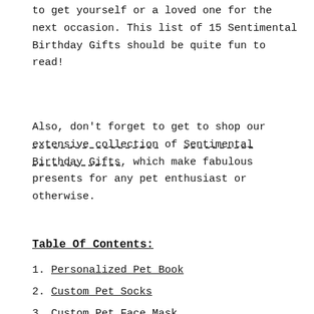to get yourself or a loved one for the next occasion. This list of 15 Sentimental Birthday Gifts should be quite fun to read!
Also, don't forget to get to shop our extensive collection of Sentimental Birthday Gifts, which make fabulous presents for any pet enthusiast or otherwise.
Table Of Contents:
1. Personalized Pet Book
2. Custom Pet Socks
3. Custom Pet Face Mask
4. Custom Pet Portrait